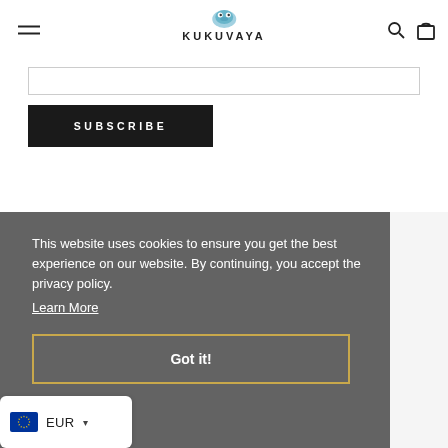KUKUVAYA
SUBSCRIBE
This website uses cookies to ensure you get the best experience on our website. By continuing, you accept the privacy policy.
Learn More
Got it!
EUR